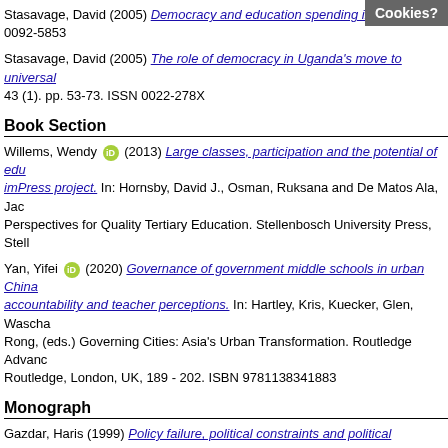Stasavage, David (2005) Democracy and education spending in ... 0092-5853
Stasavage, David (2005) The role of democracy in Uganda's move to universal ... 43 (1). pp. 53-73. ISSN 0022-278X
Book Section
Willems, Wendy (2013) Large classes, participation and the potential of edu... imPress project. In: Hornsby, David J., Osman, Ruksana and De Matos Ala, Jac... Perspectives for Quality Tertiary Education. Stellenbosch University Press, Stell...
Yan, Yifei (2020) Governance of government middle schools in urban China... accountability and teacher perceptions. In: Hartley, Kris, Kuecker, Glen, Wascha... Rong, (eds.) Governing Cities: Asia's Urban Transformation. Routledge Advanc... Routledge, London, UK, 189 - 202. ISBN 9781138341883
Monograph
Gazdar, Haris (1999) Policy failure, political constraints and political resources:... Research Centre, London School of Economics and Political Science, London,
Yan, Yifei (2020) Governance of government middle schools in Beijing and D... stakeholder communication. ICS Occasional Paper (42). Institute of Chinese St...
Conference or Workshop Item